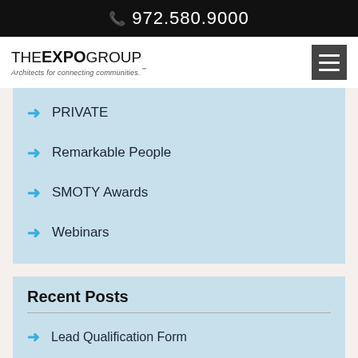972.580.9000
[Figure (logo): The Expo Group logo with tagline: Architects for connecting communities.]
PRIVATE
Remarkable People
SMOTY Awards
Webinars
Recent Posts
Lead Qualification Form